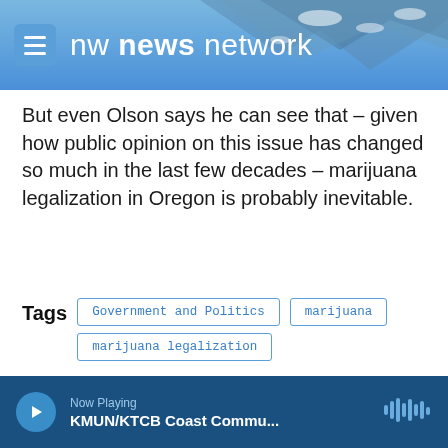nw news network
But even Olson says he can see that – given how public opinion on this issue has changed so much in the last few decades – marijuana legalization in Oregon is probably inevitable.
Tags: Government and Politics | marijuana | marijuana legalization
[Figure (infographic): Social share buttons: Facebook, Twitter, LinkedIn, Email]
Now Playing KMUN/KTCB Coast Commu...